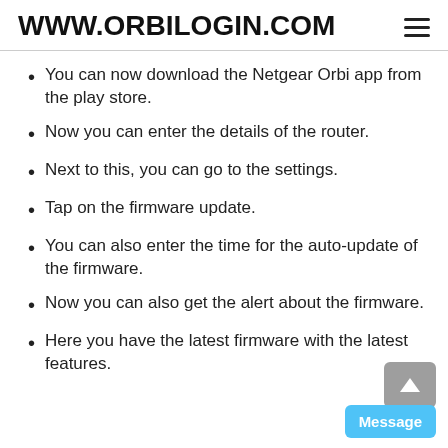WWW.ORBILOGIN.COM
You can now download the Netgear Orbi app from the play store.
Now you can enter the details of the router.
Next to this, you can go to the settings.
Tap on the firmware update.
You can also enter the time for the auto-update of the firmware.
Now you can also get the alert about the firmware.
Here you have the latest firmware with the latest features.